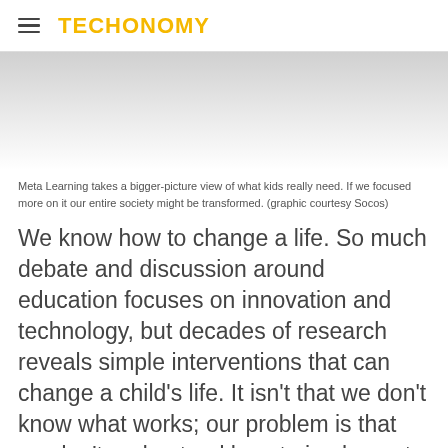TECHONOMY
[Figure (photo): Gray/white background area representing a cropped image placeholder at the top of the article.]
Meta Learning takes a bigger-picture view of what kids really need. If we focused more on it our entire society might be transformed. (graphic courtesy Socos)
We know how to change a life. So much debate and discussion around education focuses on innovation and technology, but decades of research reveals simple interventions that can change a child's life. It isn't that we don't know what works; our problem is that we don't understand how to implement and share these findings.